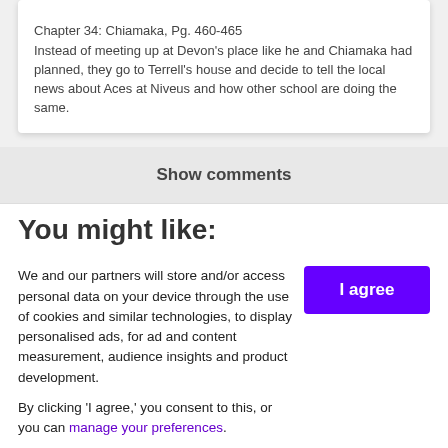Chapter 34: Chiamaka, Pg. 460-465
Instead of meeting up at Devon's place like he and Chiamaka had planned, they go to Terrell's house and decide to tell the local news about Aces at Niveus and how other school are doing the same.
Show comments
You might like:
We and our partners will store and/or access personal data on your device through the use of cookies and similar technologies, to display personalised ads, for ad and content measurement, audience insights and product development.

By clicking 'I agree,' you consent to this, or you can manage your preferences.